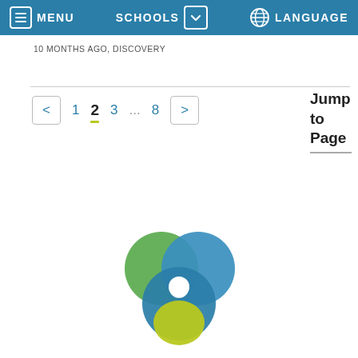MENU   SCHOOLS   LANGUAGE
10 MONTHS AGO, DISCOVERY
< 1 2 3 ... 8 > Jump to Page
[Figure (logo): Interlinked circular loops logo in green, blue, and lime yellow-green colors forming a trefoil/clover knot shape]